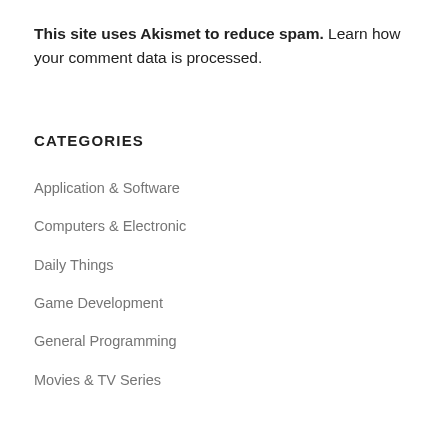This site uses Akismet to reduce spam. Learn how your comment data is processed.
CATEGORIES
Application & Software
Computers & Electronic
Daily Things
Game Development
General Programming
Movies & TV Series